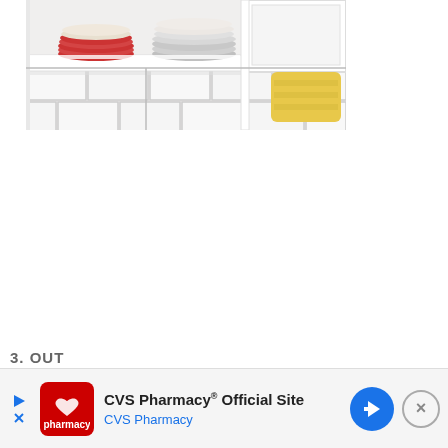[Figure (photo): Kitchen interior photo showing white subway tile backsplash, white cabinet shelves with stacked red and white plates and grey/white plates, and a yellow sponge or cloth visible at the right side.]
3. OUT
[Figure (screenshot): CVS Pharmacy advertisement banner with red CVS pharmacy logo, text 'CVS Pharmacy® Official Site' and 'CVS Pharmacy' in blue, a blue navigation arrow icon, and a circular close button (×).]